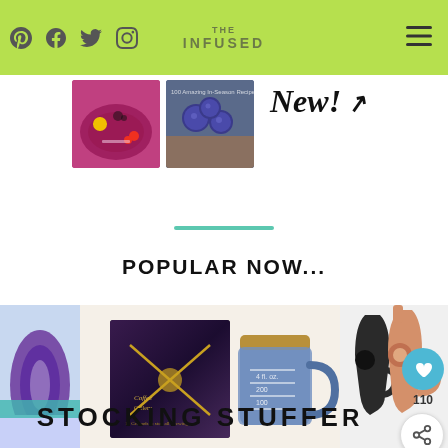Header navigation bar with social icons (Pinterest, Facebook, Twitter, Instagram) and hamburger menu
[Figure (photo): Banner area showing food/smoothie bowl images and 'New!' handwritten text with arrow]
[Figure (illustration): Teal/green horizontal divider line]
POPULAR NOW...
[Figure (photo): Stocking stuffers collage image featuring a neck pillow, coffee book with mason jar mug, and touchless door opener tools]
STOCKING STUFFE